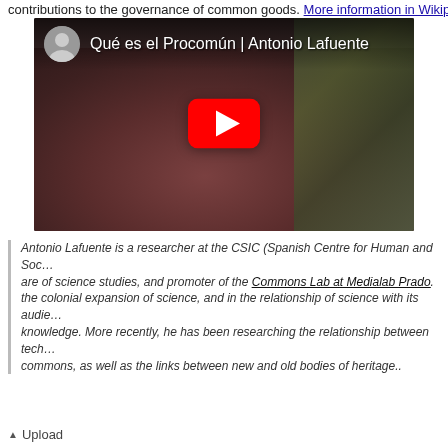contributions to the governance of common goods. More information in Wikiped…
[Figure (screenshot): YouTube video thumbnail showing 'Qué es el Procomún | Antonio Lafuente' with a man sitting in front of a bookshelf and a red YouTube play button in the center. A circular avatar of a person with glasses appears in the top-left of the video header.]
Antonio Lafuente is a researcher at the CSIC (Spanish Centre for Human and Social Sciences), in the are of science studies, and promoter of the Commons Lab at Medialab Prado. He has worked on the colonial expansion of science, and in the relationship of science with its audiences and with popular knowledge. More recently, he has been researching the relationship between technology, culture and commons, as well as the links between new and old bodies of heritage..
▲ Upload